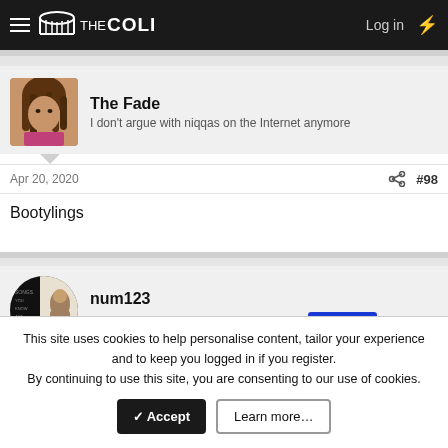THE COLI | Log in
The Fade
I don't argue with niqqas on the Internet anymore
Apr 20, 2020  #98
Bootylings
num123
Meet you at the jazz corner of the world  Supporter
This site uses cookies to help personalise content, tailor your experience and to keep you logged in if you register.
By continuing to use this site, you are consenting to our use of cookies.